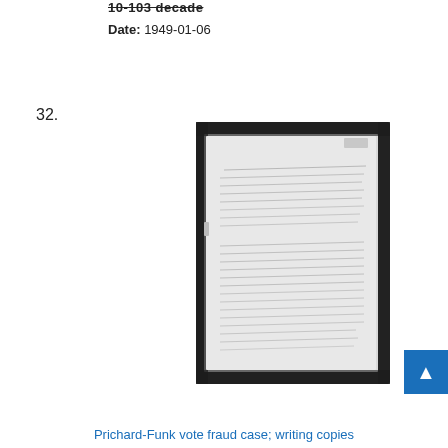10-103 decade
Date: 1949-01-06
32.
[Figure (photo): Scanned handwritten document page, dark border around off-white paper with cursive handwriting in two paragraphs, partially legible.]
Prichard-Funk vote fraud case; writing copies